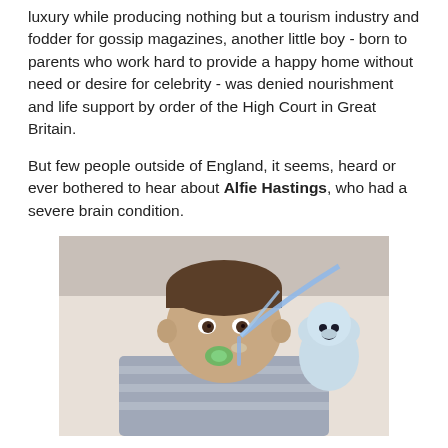luxury while producing nothing but a tourism industry and fodder for gossip magazines, another little boy - born to parents who work hard to provide a happy home without need or desire for celebrity - was denied nourishment and life support by order of the High Court in Great Britain.
But few people outside of England, it seems, heard or ever bothered to hear about Alfie Hastings, who had a severe brain condition.
[Figure (photo): Photo of a young toddler boy lying in a hospital bed, wearing a striped shirt, with a breathing/feeding tube attached to his nose, a green pacifier near his mouth, and a stuffed animal bear visible beside him.]
His parents and others tried their very best to save his life, but the judges of Britain decreed that Alfie was a lost cause and a drain on the system.  And so Alfie should die.
Which, he now has.  As of this past hour or so,